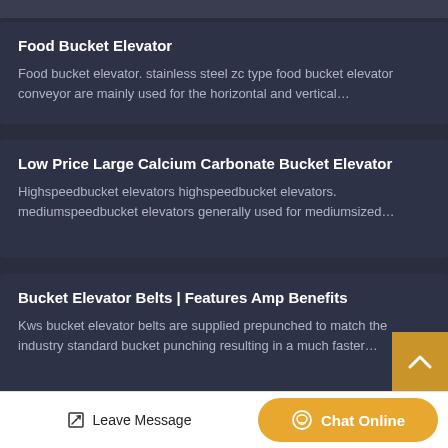Food Bucket Elevator
Food bucket elevator. stainless steel zc type food bucket elevator conveyor are mainly used for the horizontal and vertical…
Low Price Large Calcium Carbonate Bucket Elevator
Highspeedbucket elevators highspeedbucket elevators. mediumspeedbucket elevators generally used for mediumsized…
Bucket Elevator Belts | Features Amp Benefits
Kws bucket elevator belts are supplied prepunched to match the industry standard bucket punching resulting in a much faster…
Leave Message | Chat Online